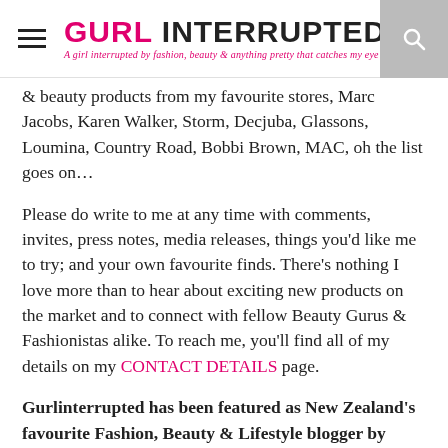GURL INTERRUPTED — A girl interrupted by fashion, beauty & anything pretty that catches my eye
& beauty products from my favourite stores, Marc Jacobs, Karen Walker, Storm, Decjuba, Glassons, Loumina, Country Road, Bobbi Brown, MAC, oh the list goes on…
Please do write to me at any time with comments, invites, press notes, media releases, things you'd like me to try; and your own favourite finds. There's nothing I love more than to hear about exciting new products on the market and to connect with fellow Beauty Gurus & Fashionistas alike. To reach me, you'll find all of my details on my CONTACT DETAILS page.
Gurlinterrupted has been featured as New Zealand's favourite Fashion, Beauty & Lifestyle blogger by some pretty big names – check out the features here:
MTV: www.mtv.com.au/style/news/our-favourite-kiwi-fashion-bloggers